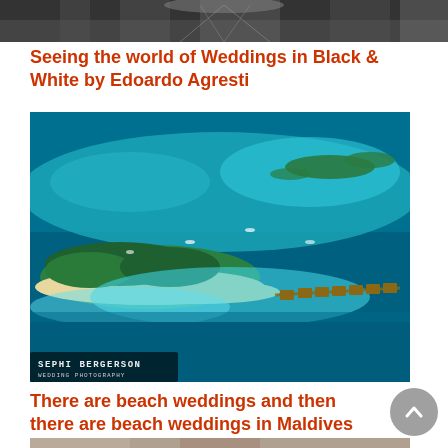[Figure (photo): Black and white photo of a wedding scene, partially visible at the top of the page]
Seeing the world of Weddings in Black & White by Edoardo Agresti
[Figure (photo): Aerial photograph of a tropical island resort in the Maldives, showing turquoise waters, sandy beaches, over-water bungalows, and lush green vegetation. Watermark reads 'SEPHI BERGERSON WEDDING PHOTOGRAPHY'.]
There are beach weddings and then there are beach weddings in Maldives
[Figure (photo): Bottom of page showing the start of another photo]